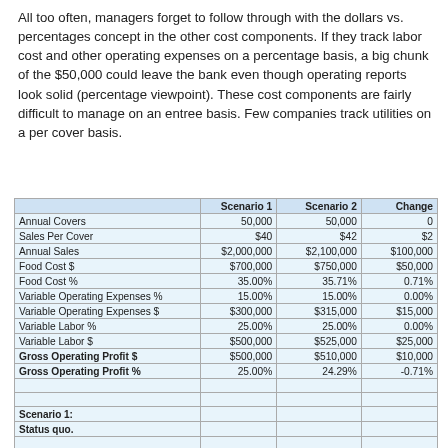All too often, managers forget to follow through with the dollars vs. percentages concept in the other cost components. If they track labor cost and other operating expenses on a percentage basis, a big chunk of the $50,000 could leave the bank even though operating reports look solid (percentage viewpoint). These cost components are fairly difficult to manage on an entree basis. Few companies track utilities on a per cover basis.
|  | Scenario 1 | Scenario 2 | Change |
| --- | --- | --- | --- |
| Annual Covers | 50,000 | 50,000 | 0 |
| Sales Per Cover | $40 | $42 | $2 |
| Annual Sales | $2,000,000 | $2,100,000 | $100,000 |
| Food Cost $ | $700,000 | $750,000 | $50,000 |
| Food Cost % | 35.00% | 35.71% | 0.71% |
| Variable Operating Expenses % | 15.00% | 15.00% | 0.00% |
| Variable Operating Expenses $ | $300,000 | $315,000 | $15,000 |
| Variable Labor % | 25.00% | 25.00% | 0.00% |
| Variable Labor $ | $500,000 | $525,000 | $25,000 |
| Gross Operating Profit $ | $500,000 | $510,000 | $10,000 |
| Gross Operating Profit % | 25.00% | 24.29% | -0.71% |
|  |  |  |  |
|  |  |  |  |
| Scenario 1: |  |  |  |
| Status quo. |  |  |  |
|  |  |  |  |